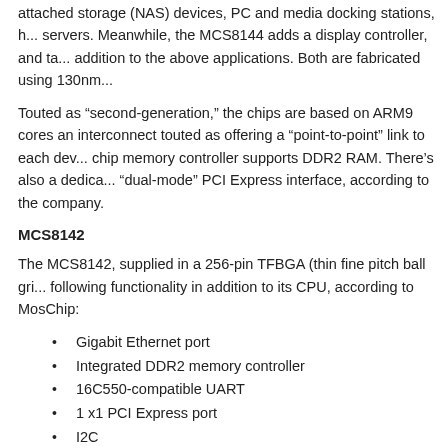attached storage (NAS) devices, PC and media docking stations, h... servers. Meanwhile, the MCS8144 adds a display controller, and ta... addition to the above applications. Both are fabricated using 130nm...
Touted as “second-generation,” the chips are based on ARM9 cores an interconnect touted as offering a “point-to-point” link to each dev... chip memory controller supports DDR2 RAM. There’s also a dedica... “dual-mode” PCI Express interface, according to the company.
MCS8142
The MCS8142, supplied in a 256-pin TFBGA (thin fine pitch ball gri... following functionality in addition to its CPU, according to MosChip:
Gigabit Ethernet port
Integrated DDR2 memory controller
16C550-compatible UART
1 x1 PCI Express port
I2C
SPI
8 GPIOs